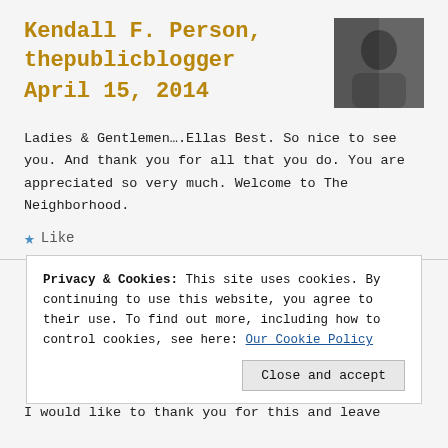Kendall F. Person, thepublicblogger
April 15, 2014
[Figure (photo): Small profile photo of a person, dark/grayscale image]
Ladies & Gentlemen….Ellas Best. So nice to see you. And thank you for all that you do. You are appreciated so very much. Welcome to The Neighborhood.
★ Like
Privacy & Cookies: This site uses cookies. By continuing to use this website, you agree to their use. To find out more, including how to control cookies, see here: Our Cookie Policy
Close and accept
I would like to thank you for this and leave